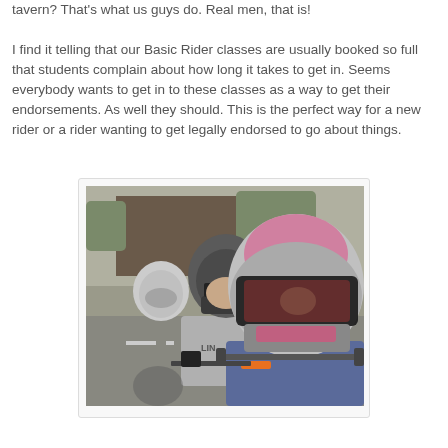tavern? That's what us guys do. Real men, that is! I find it telling that our Basic Rider classes are usually booked so full that students complain about how long it takes to get in. Seems everybody wants to get in to these classes as a way to get their endorsements. As well they should. This is the perfect way for a new rider or a rider wanting to get legally endorsed to go about things.
[Figure (photo): Photo of motorcycle riders in helmets lined up, the closest rider wearing a pink and grey helmet with sunglasses visor, middle rider in grey hoodie with dark helmet, and a rider with white helmet in the background.]